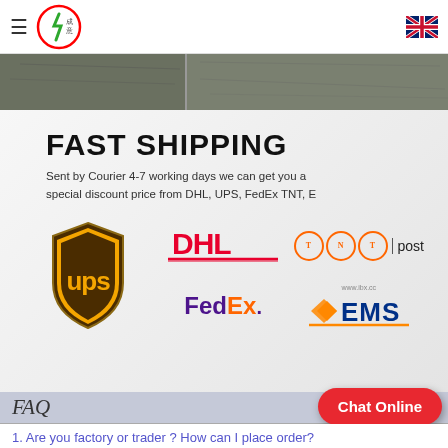Menu | Logo (Y 成意) | UK Flag
[Figure (photo): Partial image strip showing a warehouse/factory scene in two sections]
[Figure (infographic): Fast Shipping section with logos: DHL, UPS, FedEx, TNT post, EMS]
FAQ
Chat Online
1. Are you factory or trader ? How can I place order?